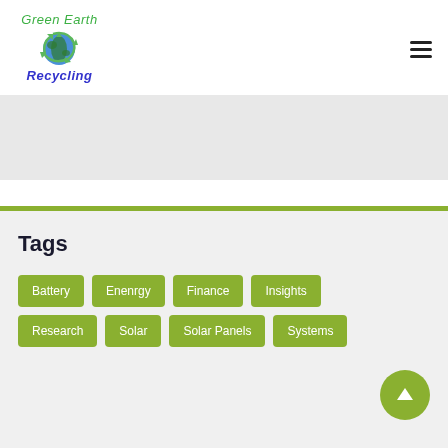[Figure (logo): Green Earth Recycling logo with recycling icon globe and stylized text]
Tags
Battery
Enenrgy
Finance
Insights
Research
Solar
Solar Panels
Systems